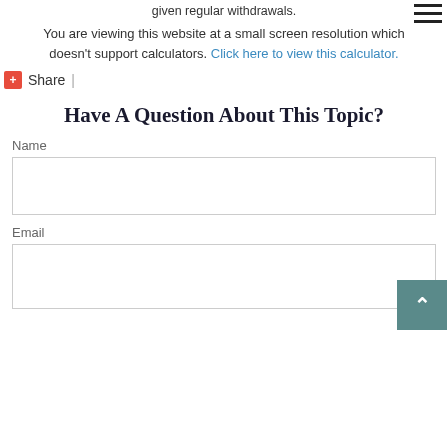given regular withdrawals.
You are viewing this website at a small screen resolution which doesn't support calculators. Click here to view this calculator.
✚ Share  |
Have A Question About This Topic?
Name
Email